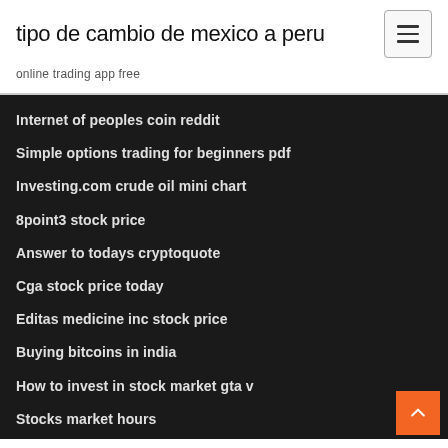tipo de cambio de mexico a peru
online trading app free
Internet of peoples coin reddit
Simple options trading for beginners pdf
Investing.com crude oil mini chart
8point3 stock price
Answer to todays cryptoquote
Cga stock price today
Editas medicine inc stock price
Buying bitcoins in india
How to invest in stock market gta v
Stocks market hours